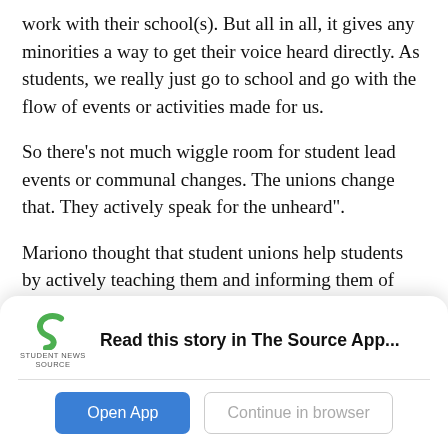work with their school(s). But all in all, it gives any minorities a way to get their voice heard directly. As students, we really just go to school and go with the flow of events or activities made for us.
So there's not much wiggle room for student lead events or communal changes. The unions change that. They actively speak for the unheard".
Mariono thought that student unions help students by actively teaching them and informing them of academic resources. "Student Unions help students out by informing them of academic resources such as how the
[Figure (logo): Student News Source logo — green S-shaped icon above text reading STUDENT NEWS SOURCE]
Read this story in The Source App...
Open App
Continue in browser